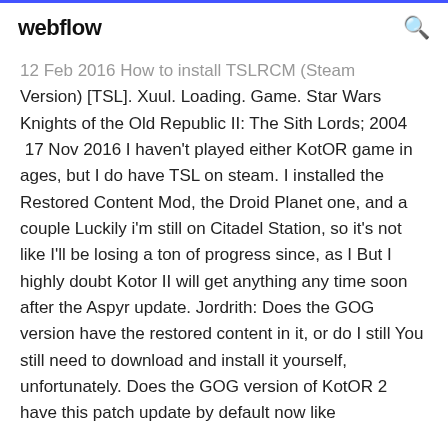webflow
12 Feb 2016 How to install TSLRCM (Steam Version) [TSL]. Xuul. Loading. Game. Star Wars Knights of the Old Republic II: The Sith Lords; 2004  17 Nov 2016 I haven't played either KotOR game in ages, but I do have TSL on steam. I installed the Restored Content Mod, the Droid Planet one, and a couple Luckily i'm still on Citadel Station, so it's not like I'll be losing a ton of progress since, as I But I highly doubt Kotor II will get anything any time soon after the Aspyr update. Jordrith: Does the GOG version have the restored content in it, or do I still You still need to download and install it yourself, unfortunately. Does the GOG version of KotOR 2 have this patch update by default now like